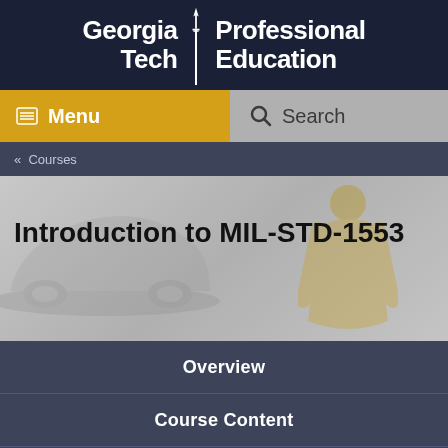[Figure (logo): Georgia Tech Professional Education logo on dark navy background]
Menu
Search
« Courses
[Figure (photo): Background photo of a person in yellow jacket near a vehicle]
Introduction to MIL-STD-1553
Overview
Course Content
Requirements & Materials